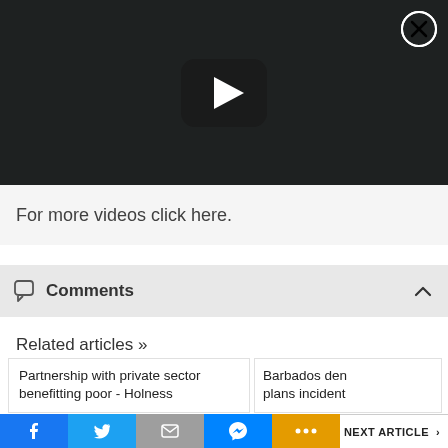[Figure (screenshot): Dark video player with play button in center and close (X) button in top-right corner]
For more videos click here.
Comments
Related articles »
Partnership with private sector benefitting poor - Holness
Barbados den plans incident
[Figure (screenshot): Bottom social share bar with Facebook, Twitter, Email, Messenger, More buttons and NEXT ARTICLE navigation]